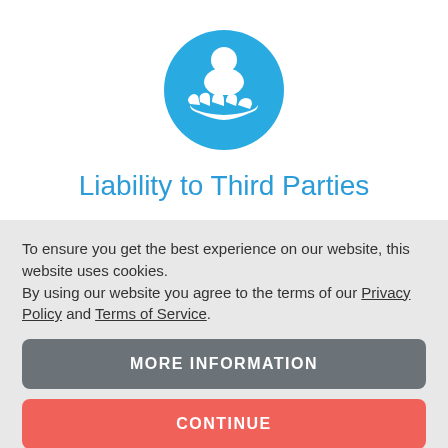[Figure (illustration): A circular blue icon featuring a white person figure being held in an open hand, representing care or liability to third parties]
Liability to Third Parties
To ensure you get the best experience on our website, this website uses cookies.
By using our website you agree to the terms of our Privacy Policy and Terms of Service.
MORE INFORMATION
CONTINUE